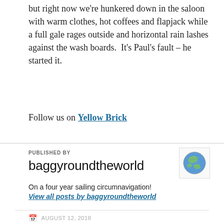but right now we're hunkered down in the saloon with warm clothes, hot coffees and flapjack while a full gale rages outside and horizontal rain lashes against the wash boards.  It's Paul's fault – he started it.
Follow us on Yellow Brick
PUBLISHED BY
baggyroundtheworld
[Figure (illustration): Globe emoji/icon showing Earth]
On a four year sailing circumnavigation!
View all posts by baggyroundtheworld
AUGUST 12, 2018
9 COMMENTS
ADVENTURE, BAGHEERA, CHESU BEACH, CIRCUMNAVIGATION